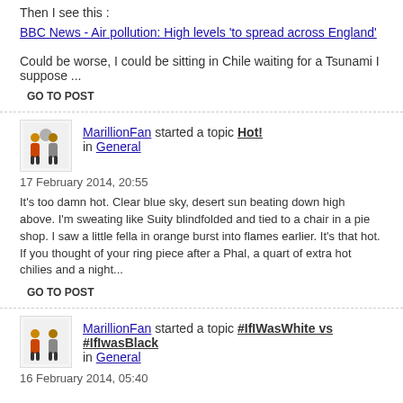Then I see this :
BBC News - Air pollution: High levels 'to spread across England'
Could be worse, I could be sitting in Chile waiting for a Tsunami I suppose ...
GO TO POST
MarillionFan started a topic Hot! in General
17 February 2014, 20:55
It's too damn hot. Clear blue sky, desert sun beating down high above. I'm sweating like Suity blindfolded and tied to a chair in a pie shop. I saw a little fella in orange burst into flames earlier. It's that hot. If you thought of your ring piece after a Phal, a quart of extra hot chilies and a night...
GO TO POST
MarillionFan started a topic #IfIWasWhite vs #IfIwasBlack in General
16 February 2014, 05:40